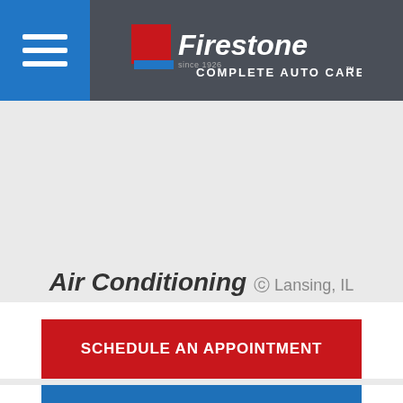Firestone Complete Auto Care
Air Conditioning  Lansing, IL
SCHEDULE AN APPOINTMENT
A/C REPAIR SERVICES
A/C RECHARGE SERVICES
A/C FREON